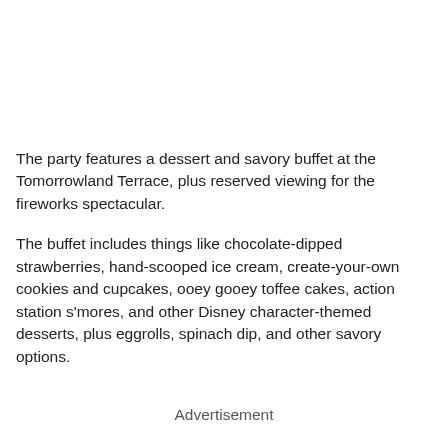The party features a dessert and savory buffet at the Tomorrowland Terrace, plus reserved viewing for the fireworks spectacular.
The buffet includes things like chocolate-dipped strawberries, hand-scooped ice cream, create-your-own cookies and cupcakes, ooey gooey toffee cakes, action station s'mores, and other Disney character-themed desserts, plus eggrolls, spinach dip, and other savory options.
Advertisement
Drinks include sparkling cider, hot chocolate, signature beverages offered to guests from age 21 and up...